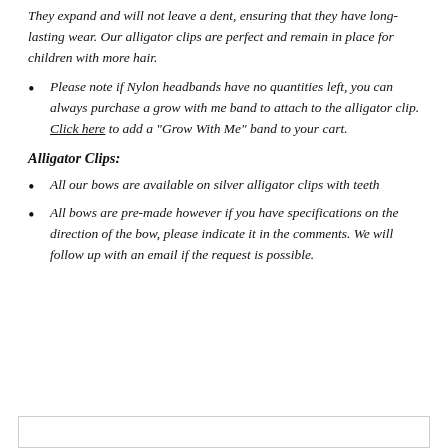They expand and will not leave a dent, ensuring that they have long-lasting wear. Our alligator clips are perfect and remain in place for children with more hair.
Please note if Nylon headbands have no quantities left, you can always purchase a grow with me band to attach to the alligator clip. Click here to add a "Grow With Me" band to your cart.
Alligator Clips:
All our bows are available on silver alligator clips with teeth
All bows are pre-made however if you have specifications on the direction of the bow, please indicate it in the comments. We will follow up with an email if the request is possible.